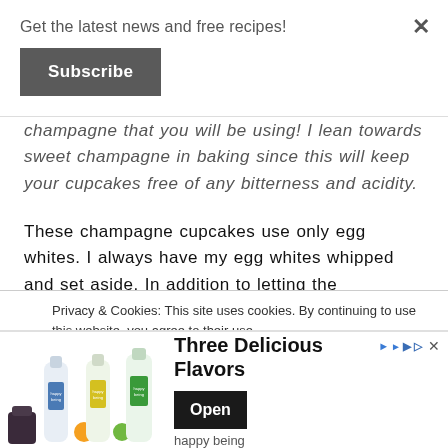Get the latest news and free recipes!
Subscribe
champagne that you will be using! I lean towards sweet champagne in baking since this will keep your cupcakes free of any bitterness and acidity.
These champagne cupcakes use only egg whites. I always have my egg whites whipped and set aside. In addition to letting the champagne steal the show, this will give you a
Privacy & Cookies: This site uses cookies. By continuing to use this website, you agree to their use.
d out more, including how to control cookies, see here: Cookie
[Figure (infographic): Advertisement banner for 'happy being' brand showing milk/beverage bottles in different flavors with 'Three Delicious Flavors' headline and Open button]
Three Delicious Flavors
happy being
Open